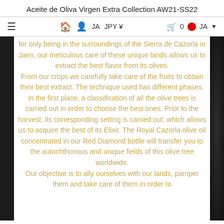Aceite de Oliva Virgen Extra Collection AW21-SS22
≡  🏠 👤  JA  JPY ¥   🛒 0   🔴 JA  ▼
for only being in the surroundings of the Sierra de Cazorla in Jaen, our meticulous care of these unique lands allows us to extract the best flavor from its olives. From our crops we carefully take care of the fruits to obtain their best extract. The technique used has different phases. In the first place, a classification of all the olive trees is carried out in order to choose the best ones. Prior to the harvest, its corresponding setting is carried out, which allows us to acquire the best of its Elixir. The Royal Cazorla olive oil concentrated in our Red Diamond bottle will transfer you to the autochthonous and unique fields of this olive tree worldwide. Our objective is to ally ourselves with our lands, pamper them and take care of them in order to